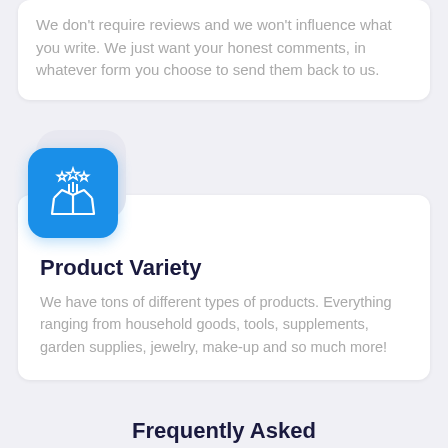We don't require reviews and we won't influence what you write. We just want your honest comments, in whatever form you choose to send them back to us.
[Figure (illustration): Blue rounded square icon with a white line-art illustration of an open box with stars and sparkles coming out of it]
Product Variety
We have tons of different types of products. Everything ranging from household goods, tools, supplements, garden supplies, jewelry, make-up and so much more!
Frequently Asked